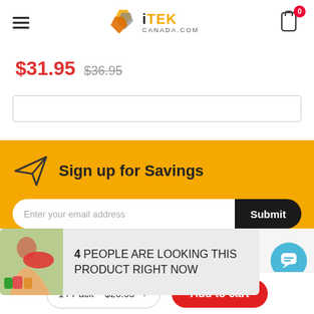iTEK CANADA.COM — navigation header with hamburger menu and cart (0 items)
$31.95  $36.95
[Figure (screenshot): Empty input/search box with light border]
Sign up for Savings
Enter your email address  Submit
4 PEOPLE ARE LOOKING THIS PRODUCT RIGHT NOW
1 / Pack – $26.95   Add to cart